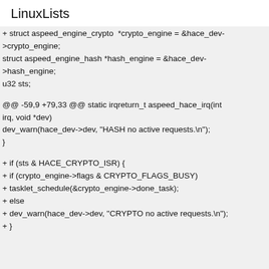LinuxLists
+ struct aspeed_engine_crypto  *crypto_engine = &hace_dev->crypto_engine;
struct aspeed_engine_hash *hash_engine = &hace_dev->hash_engine;
u32 sts;
@@ -59,9 +79,33 @@ static irqreturn_t aspeed_hace_irq(int irq, void *dev)
dev_warn(hace_dev->dev, "HASH no active requests.\n");
}
+ if (sts & HACE_CRYPTO_ISR) {
+ if (crypto_engine->flags & CRYPTO_FLAGS_BUSY)
+ tasklet_schedule(&crypto_engine->done_task);
+ else
+ dev_warn(hace_dev->dev, "CRYPTO no active requests.\n");
+ }